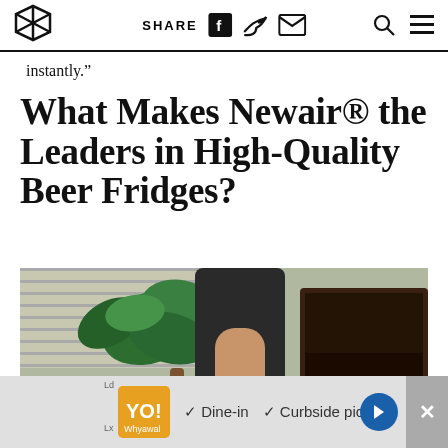SHARE [logo icons]
instantly.”
What Makes Newair® the Leaders in High-Quality Beer Fridges?
[Figure (photo): Person in black t-shirt next to a plant and a dark beer fridge/cooler containing multiple cans of beer.]
✓ Dine-in ✓ Curbside pickup [Advertisement]